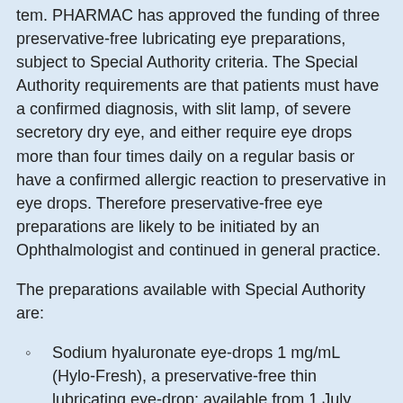tem. PHARMAC has approved the funding of three preservative-free lubricating eye preparations, subject to Special Authority criteria. The Special Authority requirements are that patients must have a confirmed diagnosis, with slit lamp, of severe secretory dry eye, and either require eye drops more than four times daily on a regular basis or have a confirmed allergic reaction to preservative in eye drops. Therefore preservative-free eye preparations are likely to be initiated by an Ophthalmologist and continued in general practice.
The preparations available with Special Authority are:
Sodium hyaluronate eye-drops 1 mg/mL (Hylo-Fresh), a preservative-free thin lubricating eye-drop; available from 1 July, 2013. N.B. In contrast to most eye preparations which have a one month expiry